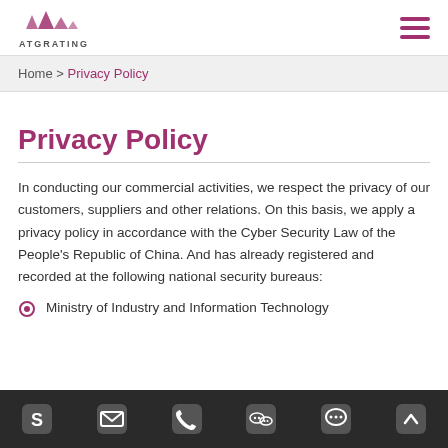ATGRATING [logo with hamburger menu]
Home > Privacy Policy
Privacy Policy
In conducting our commercial activities, we respect the privacy of our customers, suppliers and other relations. On this basis, we apply a privacy policy in accordance with the Cyber Security Law of the People's Republic of China. And has already registered and recorded at the following national security bureaus:
Ministry of Industry and Information Technology
Cyber Security Bureau of the Ministry of Public Security
[Skype] [Email] [Phone] [WeChat] [Chat] [Top]